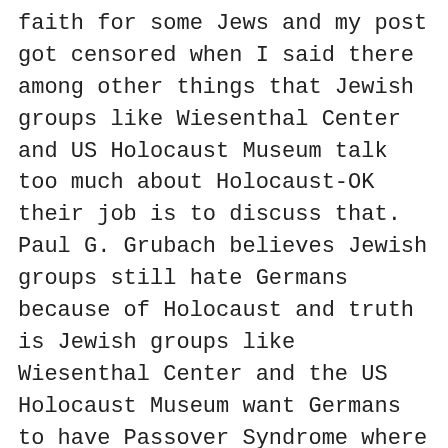faith for some Jews and my post got censored when I said there among other things that Jewish groups like Wiesenthal Center and US Holocaust Museum talk too much about Holocaust-OK their job is to discuss that. Paul G. Grubach believes Jewish groups still hate Germans because of Holocaust and truth is Jewish groups like Wiesenthal Center and the US Holocaust Museum want Germans to have Passover Syndrome where post war Germans are supposed to be guilty for Holocaust. Germans like Niklas Frank (Hans Michael Frank's son) http://www.thedailybeast.com/articles/2015/04/17/forgiving-my-nazi-father-a-horrific-past-made-present.html and Rainer Hoess (Rudolf Franz Ferdinand Hoess's son)